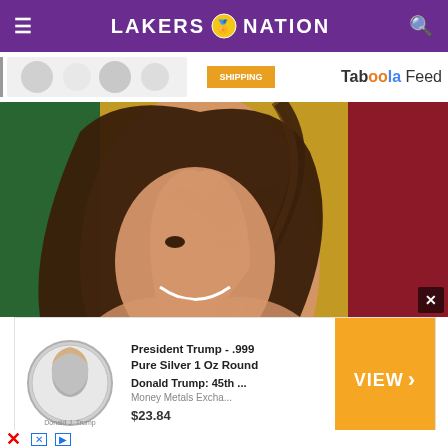LAKERS NATION
[Figure (screenshot): Ad banner with coin images and SHIPPING label, Taboola Feed branding]
[Figure (photo): Woman smiling with hair blowing across her face, overlaid on Mexican flag background (green, gold, red with eagle crest)]
[Figure (screenshot): Advertisement: President Trump .999 Pure Silver 1 Oz Round coin, Donald Trump: 45th ..., Money Metals Excha..., $23.84, VIEW button in orange]